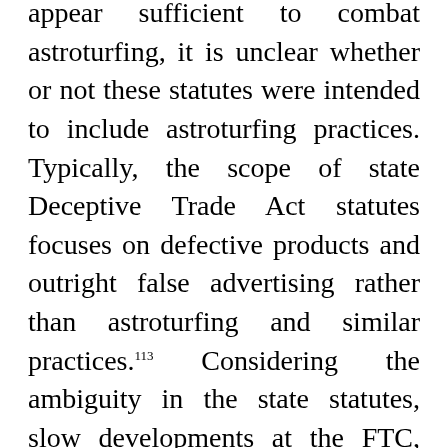appear sufficient to combat astroturfing, it is unclear whether or not these statutes were intended to include astroturfing practices. Typically, the scope of state Deceptive Trade Act statutes focuses on defective products and outright false advertising rather than astroturfing and similar practices.113 Considering the ambiguity in the state statutes, slow developments at the FTC, and the adaptive nature of astroturfing practices, the existing policies and regulations fail to adequately protect consumer choice from deceptive influence.